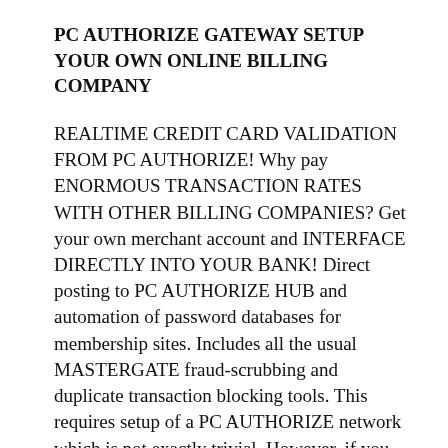PC AUTHORIZE GATEWAY SETUP YOUR OWN ONLINE BILLING COMPANY
REALTIME CREDIT CARD VALIDATION FROM PC AUTHORIZE! Why pay ENORMOUS TRANSACTION RATES WITH OTHER BILLING COMPANIES? Get your own merchant account and INTERFACE DIRECTLY INTO YOUR BANK! Direct posting to PC AUTHORIZE HUB and automation of password databases for membership sites. Includes all the usual MASTERGATE fraud-scrubbing and duplicate transaction blocking tools. This requires setup of a PC AUTHORIZE network which is not exactly trivial. However, if you are processing